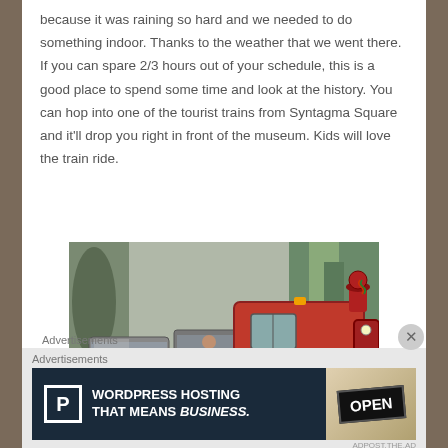because it was raining so hard and we needed to do something indoor. Thanks to the weather that we went there. If you can spare 2/3 hours out of your schedule, this is a good place to spend some time and look at the history. You can hop into one of the tourist trains from Syntagma Square and it'll drop you right in front of the museum. Kids will love the train ride.
[Figure (photo): A red tourist train on a rainy day, with people holding umbrellas standing near the train cars. Trees and greenery are visible in the background.]
Advertisements
[Figure (other): Advertisement banner: WordPress Hosting That Means BUSINESS. with a parking P icon on dark blue background and an OPEN sign image on the right.]